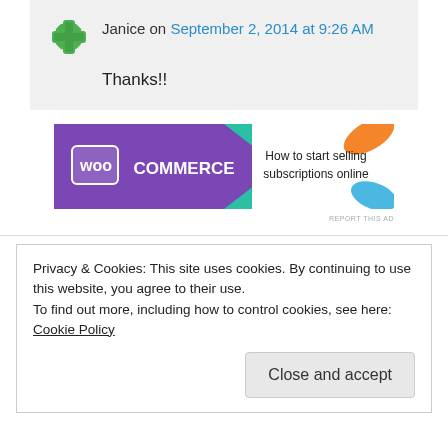Janice on September 2, 2014 at 9:26 AM
Thanks!!
[Figure (screenshot): WooCommerce advertisement banner: purple banner with WooCommerce logo and text 'How to start selling subscriptions online', with teal and orange leaf decorations]
Privacy & Cookies: This site uses cookies. By continuing to use this website, you agree to their use. To find out more, including how to control cookies, see here: Cookie Policy
Close and accept